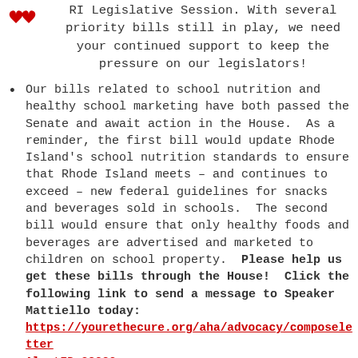RI Legislative Session. With several priority bills still in play, we need your continued support to keep the pressure on our legislators!
Our bills related to school nutrition and healthy school marketing have both passed the Senate and await action in the House. As a reminder, the first bill would update Rhode Island's school nutrition standards to ensure that Rhode Island meets – and continues to exceed – new federal guidelines for snacks and beverages sold in schools. The second bill would ensure that only healthy foods and beverages are advertised and marketed to children on school property. Please help us get these bills through the House! Click the following link to send a message to Speaker Mattiello today: https://yourethecure.org/aha/advocacy/composeletter AlertID=38232
As lawmakers put their finishing touches on the budget, we are lobbying them to include Governor Raimondo's proposed Come For Roods...